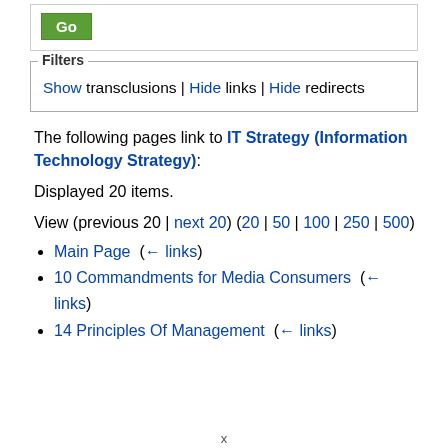[Figure (screenshot): Green 'Go' button inside a bordered box]
Filters
Show transclusions | Hide links | Hide redirects
The following pages link to IT Strategy (Information Technology Strategy):
Displayed 20 items.
View (previous 20 | next 20) (20 | 50 | 100 | 250 | 500)
Main Page  (← links)
10 Commandments for Media Consumers  (← links)
14 Principles Of Management  (← links)